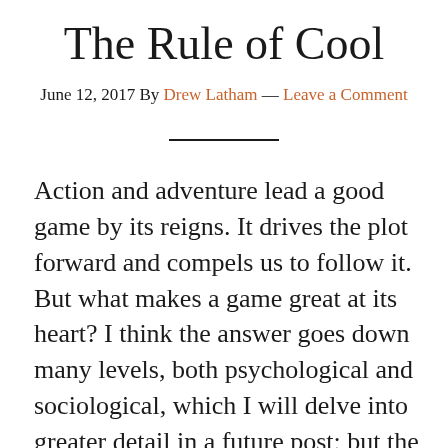The Rule of Cool
June 12, 2017 By Drew Latham — Leave a Comment
Action and adventure lead a good game by its reigns. It drives the plot forward and compels us to follow it. But what makes a game great at its heart? I think the answer goes down many levels, both psychological and sociological, which I will delve into greater detail in a future post; but the level